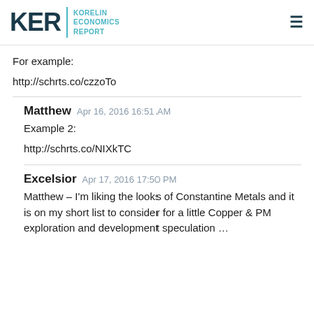KER | KORELIN ECONOMICS REPORT
For example:
http://schrts.co/czzoTo
Matthew  Apr 16, 2016 16:51 AM
Example 2:
http://schrts.co/NIXkTC
Excelsior  Apr 17, 2016 17:50 PM
Matthew – I'm liking the looks of Constantine Metals and it is on my short list to consider for a little Copper & PM exploration and development speculation …